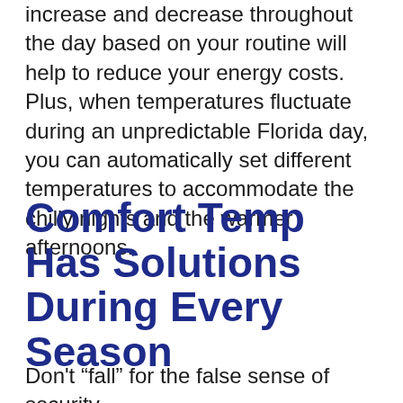increase and decrease throughout the day based on your routine will help to reduce your energy costs. Plus, when temperatures fluctuate during an unpredictable Florida day, you can automatically set different temperatures to accommodate the chilly nights and the warmer afternoons.
Comfort Temp Has Solutions During Every Season
Don't “fall” for the false sense of security